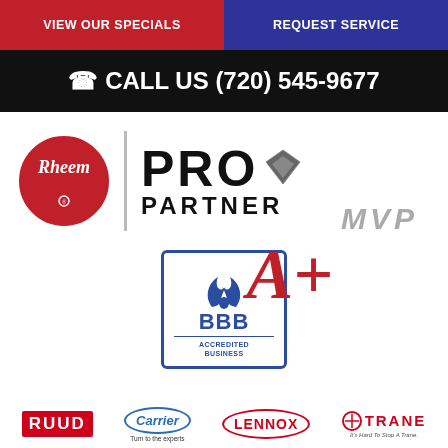VIEW OUR SPECIALS
REQUEST SERVICE
CALL US (720) 545-9677
[Figure (logo): Rheem Pro Partner MVP logo with Rheem circular red logo and PRO PARTNER MVP text]
[Figure (logo): BBB Accredited Business logo with A+ rating in red]
[Figure (logo): Bottom row of brand logos: RUUD, Carrier (Turn to the experts), LENNOX, TRANE (It's Hard To Stop A Trane.)]